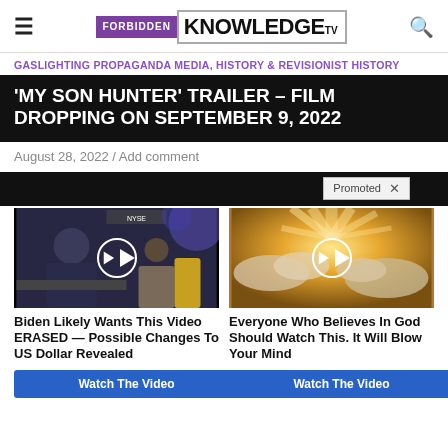FORBIDDEN KNOWLEDGE TV
GASLIGHTING PROPAGANDA MEDIA, HISTORY & REVISIONIST HISTORY
'MY SON HUNTER' TRAILER – FILM DROPPING ON SEPTEMBER 9, 2022
August 28, 2022 / Add comment
[Figure (screenshot): Dark banner with Promoted label and X button]
[Figure (screenshot): Two promoted ad cards: left shows man at NYSE with play button; right shows sunbeams through clouds with play button]
Biden Likely Wants This Video ERASED — Possible Changes To US Dollar Revealed
Everyone Who Believes In God Should Watch This. It Will Blow Your Mind